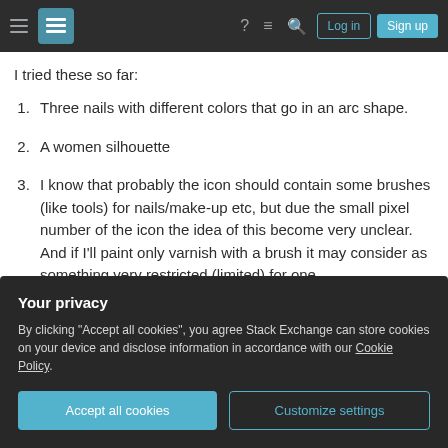Stack Exchange navigation bar with hamburger menu, logo, help, chat, search icons, Log in and Sign up buttons
I tried these so far:
Three nails with different colors that go in an arc shape.
A women silhouette
I know that probably the icon should contain some brushes (like tools) for nails/make-up etc, but due the small pixel number of the icon the idea of this become very unclear. And if I'll paint only varnish with a brush it may consider as something very restricted (limited) for one
Your privacy
By clicking "Accept all cookies", you agree Stack Exchange can store cookies on your device and disclose information in accordance with our Cookie Policy.
Accept all cookies    Customize settings